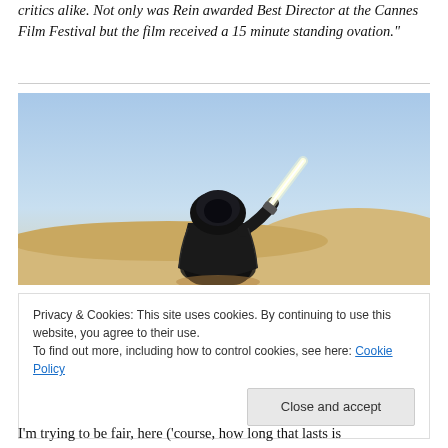critics alike. Not only was Rein awarded Best Director at the Cannes Film Festival but the film received a 15 minute standing ovation."
[Figure (photo): A robed figure in a desert landscape holding a glowing lightsaber-like object aloft, with sand dunes and blue sky in the background.]
Privacy & Cookies: This site uses cookies. By continuing to use this website, you agree to their use.
To find out more, including how to control cookies, see here: Cookie Policy
Close and accept
I'm trying to be fair, here ('course, how long that lasts is